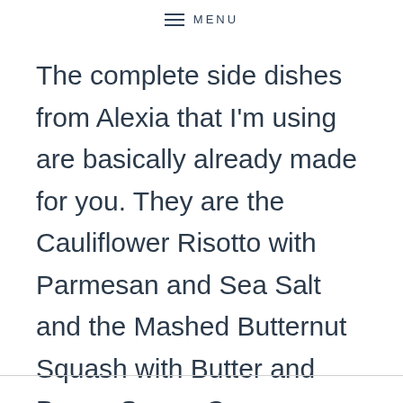MENU
The complete side dishes from Alexia that I'm using are basically already made for you. They are the Cauliflower Risotto with Parmesan and Sea Salt and the Mashed Butternut Squash with Butter and Brown Sugar. Can you say YUM?!